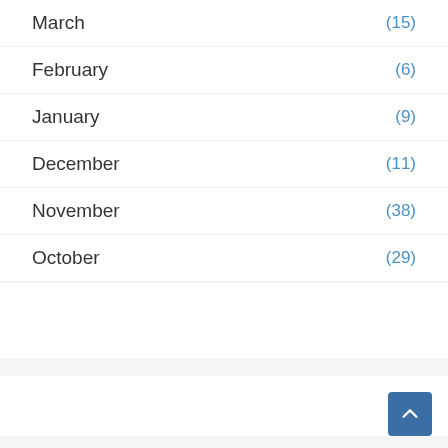March (15)
February (6)
January (9)
December (11)
November (38)
October (29)